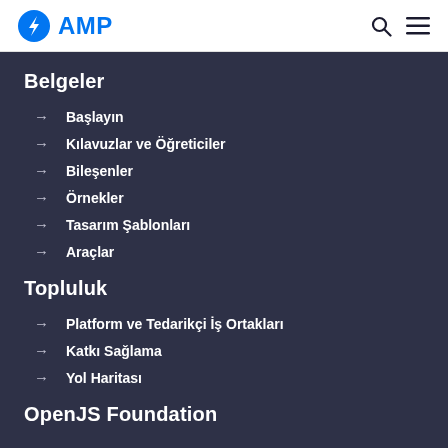AMP
Belgeler
Başlayın
Kılavuzlar ve Öğreticiler
Bileşenler
Örnekler
Tasarım Şablonları
Araçlar
Topluluk
Platform ve Tedarikçi İş Ortakları
Katkı Sağlama
Yol Haritası
OpenJS Foundation